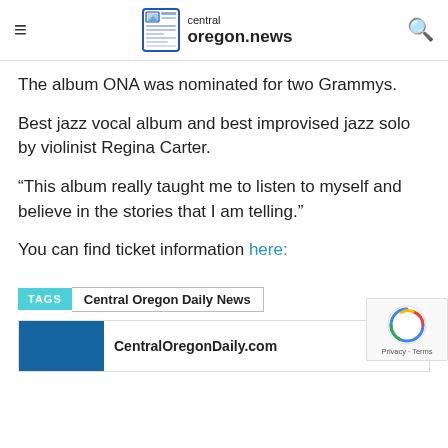central oregon.news
The album ONA was nominated for two Grammys.
Best jazz vocal album and best improvised jazz solo by violinist Regina Carter.
“This album really taught me to listen to myself and believe in the stories that I am telling.”
You can find ticket information here:
TAGS   Central Oregon Daily News
CentralOregonDaily.com